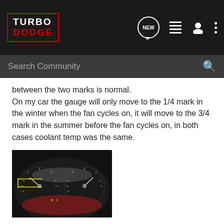Turbo Dodge forum header with logo and navigation icons
between the two marks is normal.
On my car the gauge will only move to the 1/4 mark in the winter when the fan cycles on, it will move to the 3/4 mark in the summer before the fan cycles on, in both cases coolant temp was the same.
[Figure (photo): Dashboard instrument cluster photo showing gauges illuminated at night, with yellow markings on the temperature gauge area.]
If you want to put your mind at ease you can see true coolant temp by "Backprobing" ("Backprobing eliminates the need to